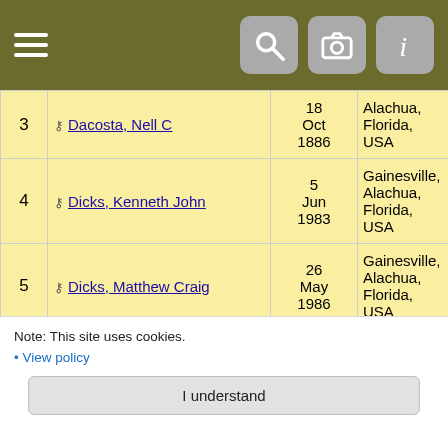Navigation header with hamburger menu and icons for search, camera, and info
| # | Name | Date | Place | ID |
| --- | --- | --- | --- | --- |
| 3 | Dacosta, Nell C | 18 Oct 1886 | Alachua, Florida, USA | I4079 |
| 4 | Dicks, Kenneth John | 5 Jun 1983 | Gainesville, Alachua, Florida, USA | I16 |
| 5 | Dicks, Matthew Craig | 26 May 1986 | Gainesville, Alachua, Florida, USA | I827 |
| 6 | Dicks, Patrick Ryan | 22 Jul 1983 | Gainesville, Alachua, Florida, USA | I739 |
| 7 | Fassett, Kara Lynn | 15 Oct 1975 | Gainesville, Alachua, Florida, | I41329 |
Note: This site uses cookies.
View policy
I understand